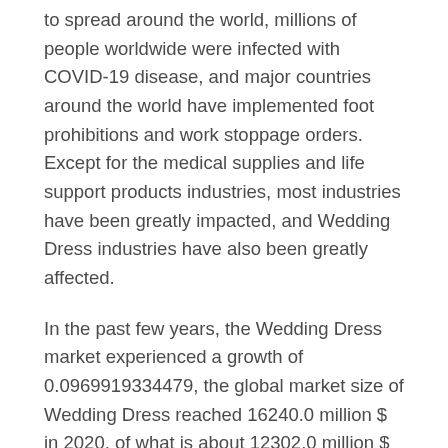to spread around the world, millions of people worldwide were infected with COVID-19 disease, and major countries around the world have implemented foot prohibitions and work stoppage orders. Except for the medical supplies and life support products industries, most industries have been greatly impacted, and Wedding Dress industries have also been greatly affected.
In the past few years, the Wedding Dress market experienced a growth of 0.0969919334479, the global market size of Wedding Dress reached 16240.0 million $ in 2020, of what is about 12302.0 million $ in 2015.
From 2015 to 2019, the growth rate of global Wedding Dress market size was in the range of xxx%. At the end of 2019, COVID-19 began to erupt in China, Due to the huge decrease of global